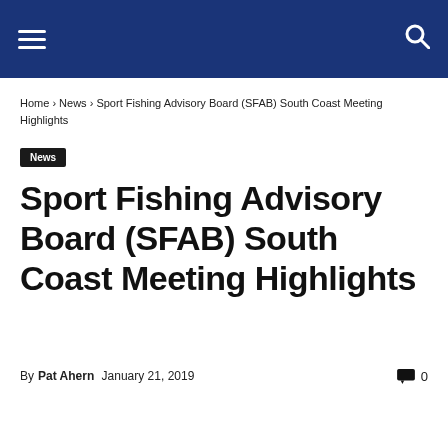Sport Fishing Advisory Board (SFAB) South Coast Meeting Highlights
Home › News › Sport Fishing Advisory Board (SFAB) South Coast Meeting Highlights
News
Sport Fishing Advisory Board (SFAB) South Coast Meeting Highlights
By Pat Ahern January 21, 2019  0